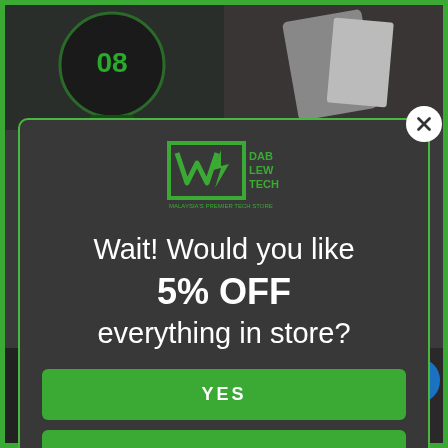[Figure (screenshot): E-commerce website screenshot showing product images (smartwatch and phone accessories) in background, with a promotional popup modal overlay. Top half shows product thumbnails; bottom half shows more product items.]
[Figure (logo): Dablew Tech logo - green geometric W shape with lightning bolt, text reads DAB LEW TECH, tagline: MALAYSIA'S PREMIER TECH STORE]
Wait! Would you like 5% OFF everything in store?
YES
NO